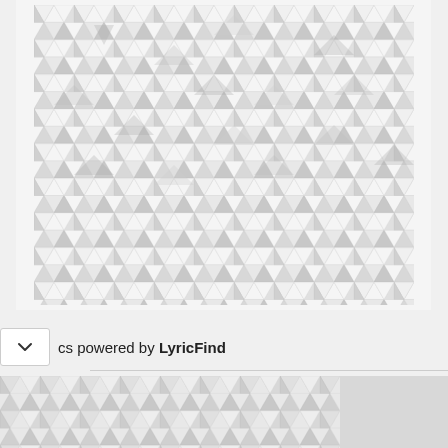[Figure (illustration): Large geometric low-poly triangular pattern in shades of white and light grey, arranged in a dense tessellated pattern resembling 3D cubes or facets.]
cs powered by LyricFind
[Figure (illustration): Partial geometric low-poly triangular pattern in shades of white and light grey, same style as the main image, cropped at the bottom of the page.]